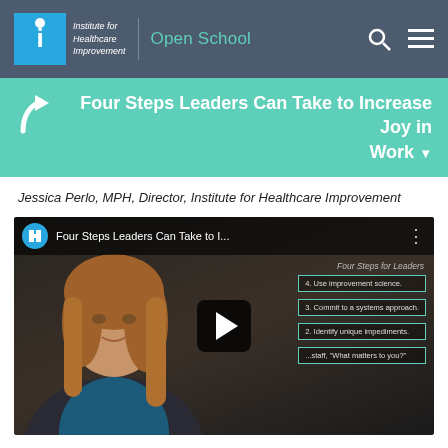Institute for Healthcare Improvement | Open School
Four Steps Leaders Can Take to Increase Joy in Work
Jessica Perlo, MPH, Director, Institute for Healthcare Improvement
[Figure (screenshot): Video thumbnail showing a woman presenter with overlaid steps: 1. Ask staff 'What matters to you?', 2. Identify unique impediments, 3. Commit to a systems approach, 4. Use improvement science. Video title: Four Steps Leaders Can Take to I... with IHI logo and play button.]